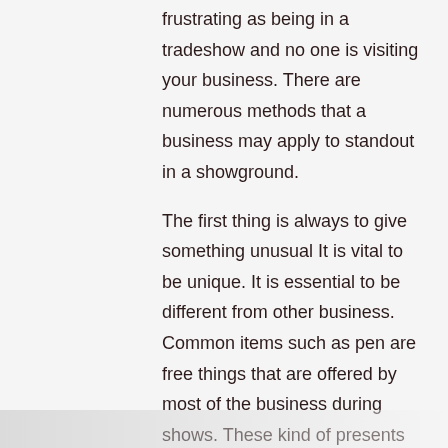frustrating as being in a tradeshow and no one is visiting your business. There are numerous methods that a business may apply to standout in a showground.
The first thing is always to give something unusual It is vital to be unique. It is essential to be different from other business. Common items such as pen are free things that are offered by most of the business during shows. These kind of presents are common thus will not entice customers. It is, therefore, vital to give something more unique. Headphones and sunglasses is an example of these things.
The other thing is t...
read more